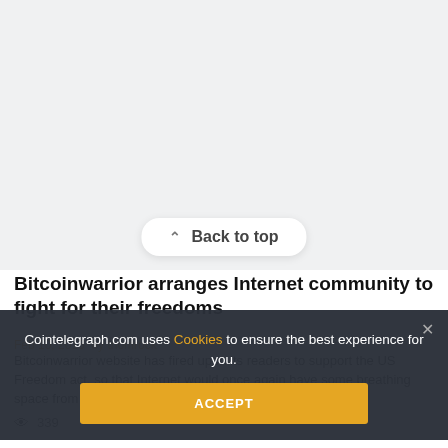[Figure (other): Light gray image placeholder area (blank/empty image area for article)]
Back to top
Bitcoinwarrior arranges Internet community to fight for their freedoms
Feb 10, 2015  by thomrock
Bitcoinwarrior website has fired upon its readers to support the US Freedom act, so that Internet would once again have some breathing space from NSA's shadows.
339
Cointelegraph.com uses Cookies to ensure the best experience for you.
ACCEPT